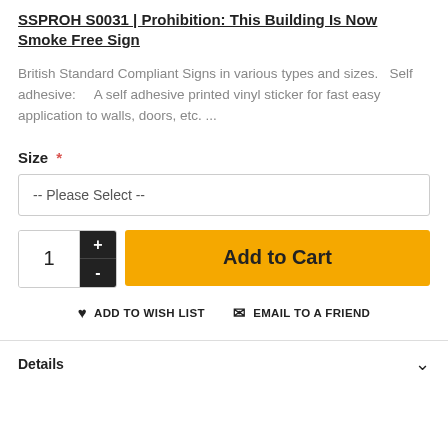SSPROH S0031 | Prohibition: This Building Is Now Smoke Free Sign
British Standard Compliant Signs in various types and sizes.   Self adhesive:     A self adhesive printed vinyl sticker for fast easy application to walls, doors, etc. ...
Size *
-- Please Select --
1
Add to Cart
♥ ADD TO WISH LIST   ✉ EMAIL TO A FRIEND
Details